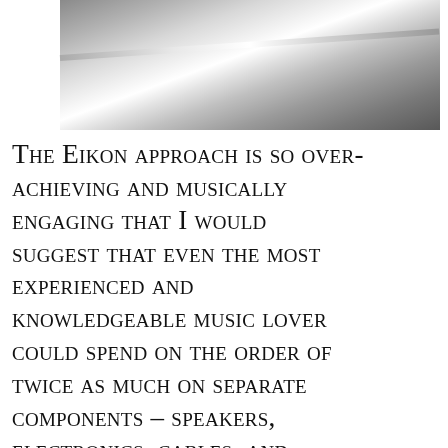[Figure (photo): Close-up photo of a metallic surface with a diagonal reflective edge, silver and grey tones, likely a high-end audio component.]
The Eikon approach is so over-achieving and musically engaging that I would suggest that even the most experienced and knowledgeable music lover could spend on the order of twice as much on separate components – speakers, electronics, cables, and ancillaries, in hopes of beginning to get into the same sonic ballpark, and they still MAY NOT achieve the same degree of fidelity this